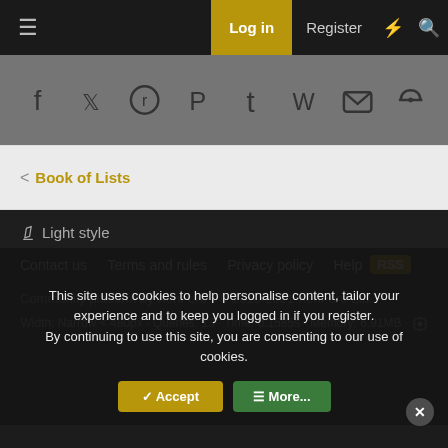Log in   Register
[Figure (screenshot): Social share icons: Facebook, Twitter, Reddit, Pinterest, Tumblr, WhatsApp, Email, Link]
< Book of Lists
✏ Light style
Contact us   Terms and rules   Privacy policy   Help   [RSS]
Community platform by XenForo® © 2010-2021 XenForo Ltd.
Width: Narrow < 480px · Queries: 13 · Time: 0.1585s · Memory: 6.91MB · ⚙
This site uses cookies to help personalise content, tailor your experience and to keep you logged in if you register.
By continuing to use this site, you are consenting to our use of cookies.